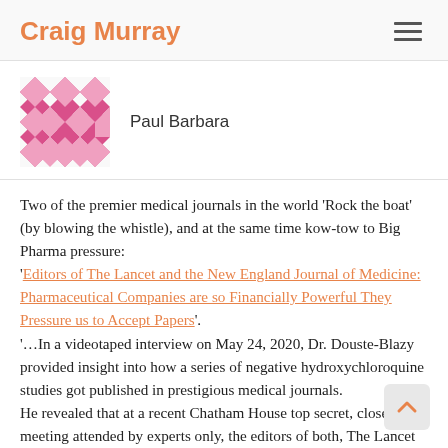Craig Murray
[Figure (illustration): Author avatar: pink/magenta geometric diamond/star pattern mosaic tile]
Paul Barbara
Two of the premier medical journals in the world ‘Rock the boat’ (by blowing the whistle), and at the same time kow-tow to Big Pharma pressure:
‘Editors of The Lancet and the New England Journal of Medicine: Pharmaceutical Companies are so Financially Powerful They Pressure us to Accept Papers’.
‘…In a videotaped interview on May 24, 2020, Dr. Douste-Blazy provided insight into how a series of negative hydroxychloroquine studies got published in prestigious medical journals.
He revealed that at a recent Chatham House top secret, closed door meeting attended by experts only, the editors of both, The Lancet and the New England Journal of Medicine expressed their exasperation citing the pressures put on them by pharmaceutical